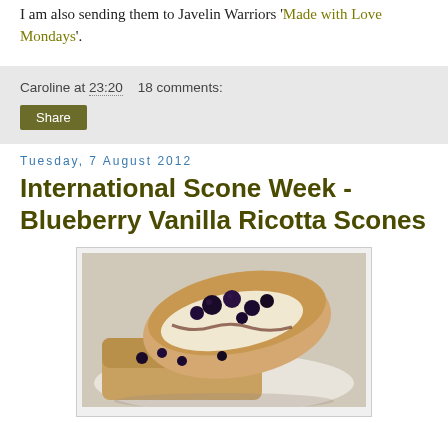I am also sending them to Javelin Warriors 'Made with Love Mondays'.
Caroline at 23:20   18 comments:
Share
Tuesday, 7 August 2012
International Scone Week - Blueberry Vanilla Ricotta Scones
[Figure (photo): A photograph of two blueberry vanilla ricotta scones showing the interior with blueberries and cream filling, on a white plate.]